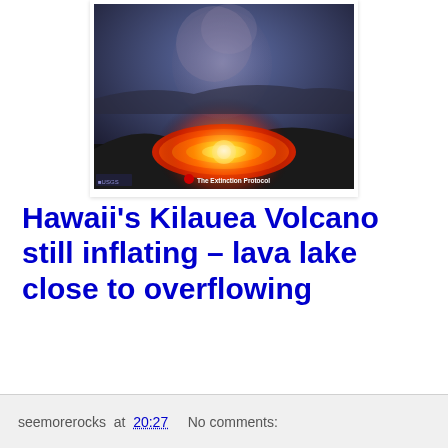[Figure (photo): Aerial or ground-level night photo of Kilauea volcano's lava lake glowing bright orange-red inside a dark crater, with steam and smoke rising. USGS watermark bottom-left, 'The Extinction Protocol' logo overlay bottom-center.]
Hawaii’s Kilauea Volcano still inflating – lava lake close to overflowing
seemorerocks at 20:27    No comments: